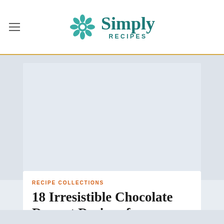Simply Recipes
[Figure (other): Advertisement placeholder area with light blue-grey background]
RECIPE COLLECTIONS
18 Irresistible Chocolate Dessert Recipes for Valentine's Day